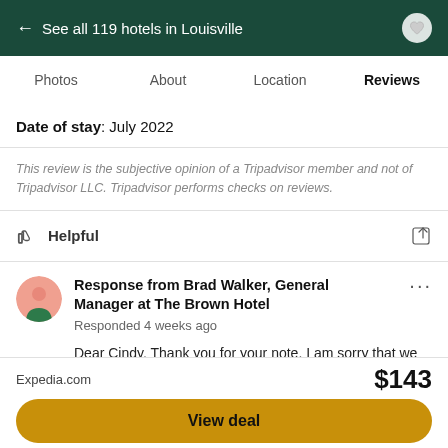← See all 119 hotels in Louisville
Photos  About  Location  Reviews
Date of stay: July 2022
This review is the subjective opinion of a Tripadvisor member and not of Tripadvisor LLC. Tripadvisor performs checks on reviews.
Helpful
Response from Brad Walker, General Manager at The Brown Hotel
Responded 4 weeks ago
Dear Cindy, Thank you for your note. I am sorry that we did not have an opportunity to speak during your visit. I checked with our staff and
Expedia.com  $143  View deal